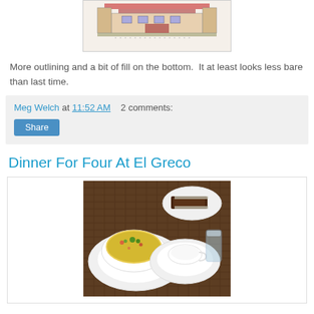[Figure (photo): Cross-stitch embroidery pattern showing a building/house design, partially top-cropped]
More outlining and a bit of fill on the bottom.  It at least looks less bare than last time.
Meg Welch at 11:52 AM   2 comments:
Dinner For Four At El Greco
[Figure (photo): Restaurant table with a bowl of soup (yellow/green broth with vegetables and herbs), a saucer, a small plate with chocolate dessert, and a glass of water on a woven placemat]